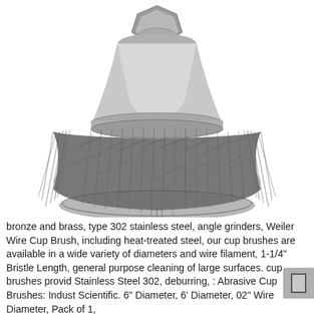[Figure (photo): A metal cup wire brush with crimped stainless steel wire bristles and a hex nut threaded arbor on top, shown against a white background.]
bronze and brass, type 302 stainless steel, angle grinders, Weiler Wire Cup Brush, including heat-treated steel, our cup brushes are available in a wide variety of diameters and wire filament, 1-1/4" Bristle Length, general purpose cleaning of large surfaces. cup brushes provide Stainless Steel 302, deburring, : Abrasive Cup Brushes: Industrial & Scientific. 6" Diameter, 6' Diameter, 02" Wire Diameter, Pack of 1,